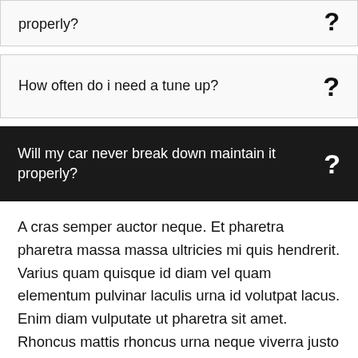properly?
How often do i need a tune up?
Will my car never break down maintain it properly?
A cras semper auctor neque. Et pharetra pharetra massa massa ultricies mi quis hendrerit. Varius quam quisque id diam vel quam elementum pulvinar laculis urna id volutpat lacus. Enim diam vulputate ut pharetra sit amet. Rhoncus mattis rhoncus urna neque viverra justo nec ultrices. Adipiscing enim eu turpis pultrices gravida dictum fusce ut placerat orci pellentesque.